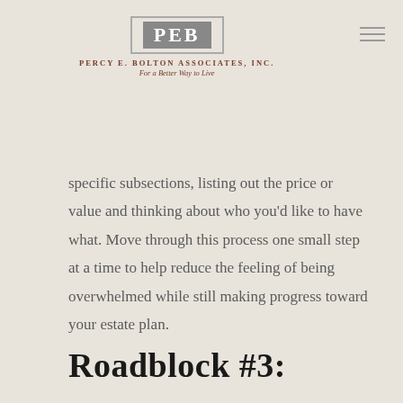PEB Percy E. Bolton Associates, Inc. For a Better Way to Live
specific subsections, listing out the price or value and thinking about who you'd like to have what. Move through this process one small step at a time to help reduce the feeling of being overwhelmed while still making progress toward your estate plan.
Roadblock #3: